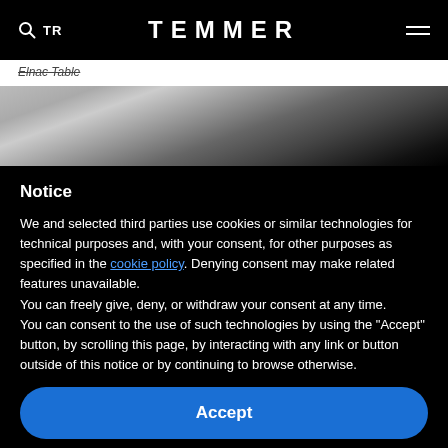TR  TEMMER  ☰
Elnac Table
[Figure (photo): Partial view of a dark table surface with objects on top, from a product page for Elnac Table by Temmer.]
Notice
We and selected third parties use cookies or similar technologies for technical purposes and, with your consent, for other purposes as specified in the cookie policy. Denying consent may make related features unavailable.
You can freely give, deny, or withdraw your consent at any time.
You can consent to the use of such technologies by using the "Accept" button, by scrolling this page, by interacting with any link or button outside of this notice or by continuing to browse otherwise.
Accept